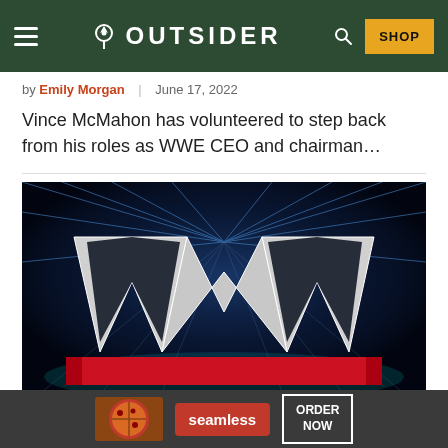OUTSIDER — navigation bar with hamburger menu, logo, search, and SHOP button
by Emily Morgan | June 17, 2022
Vince McMahon has volunteered to step back from his roles as WWE CEO and chairman...
[Figure (photo): WWE logo on a dark blue glowing background with light streaks, dramatic stadium lighting]
[Figure (photo): Seamless food delivery advertisement banner showing pizza slices, Seamless logo, and ORDER NOW button on dark background]